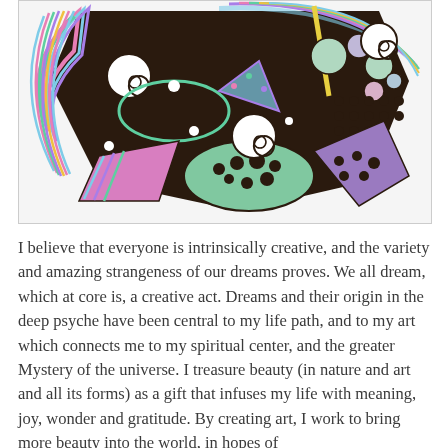[Figure (illustration): A colorful mixed-media artwork featuring abstract shapes including spirals, circles, dots, triangles, and striped patterns in teal, purple, pink, and green on a dark brown/black background, resembling a mosaic or polymer clay art piece.]
I believe that everyone is intrinsically creative, and the variety and amazing strangeness of our dreams proves. We all dream, which at core is, a creative act. Dreams and their origin in the deep psyche have been central to my life path, and to my art which connects me to my spiritual center, and the greater Mystery of the universe. I treasure beauty (in nature and art and all its forms) as a gift that infuses my life with meaning, joy, wonder and gratitude. By creating art, I work to bring more beauty into the world, in hopes of